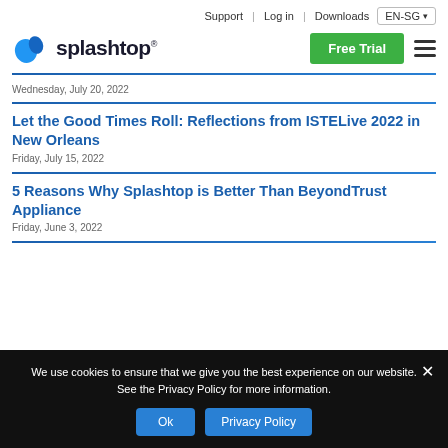Support | Log in | Downloads | EN-SG
[Figure (logo): Splashtop logo with blue splash icon and wordmark]
Wednesday, July 20, 2022
Let the Good Times Roll: Reflections from ISTELive 2022 in New Orleans
Friday, July 15, 2022
5 Reasons Why Splashtop is Better Than BeyondTrust Appliance
Friday, June 3, 2022
We use cookies to ensure that we give you the best experience on our website. See the Privacy Policy for more information.